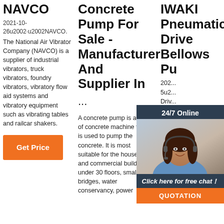NAVCO
2021-10-26u2002·u2002NAVCO.
The National Air Vibrator Company (NAVCO) is a supplier of industrial vibrators, truck vibrators, foundry vibrators, vibratory flow aid systems and vibratory equipment such as vibrating tables and railcar shakers.
Get Price
Concrete Pump For Sale - Manufacturer And Supplier In ...
A concrete pump is a kind of concrete machine that is used to pump the concrete. It is most suitable for the houses and commercial buildings under 30 floors, small bridges, water conservancy, power
IWAKI Pneumatic Drive Bellows Pu
202... 5u2... Driv... FS S... Man... ( )C... IWA... Pumps Philippines, Inc. Korea : IWAKI Korea Co., Ltd. TEL : (1)508 429 1440 FAX : 508 429 1386 ... • Pump at belt. Do not
[Figure (photo): Customer service representative woman with headset, smiling, shown in a chat support overlay box with '24/7 Online' header, 'Click here for free chat!' message, and orange QUOTATION button]